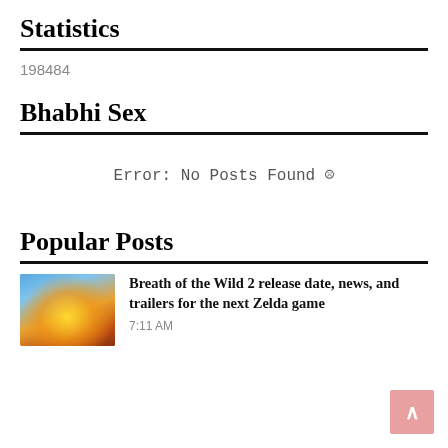Statistics
198484
Bhabhi Sex
Error: No Posts Found ☹
Popular Posts
[Figure (photo): Thumbnail image showing a bright glowing yellow-orange energy orb with blue sky background, related to Breath of the Wild 2 Zelda game]
Breath of the Wild 2 release date, news, and trailers for the next Zelda game
7:11 AM